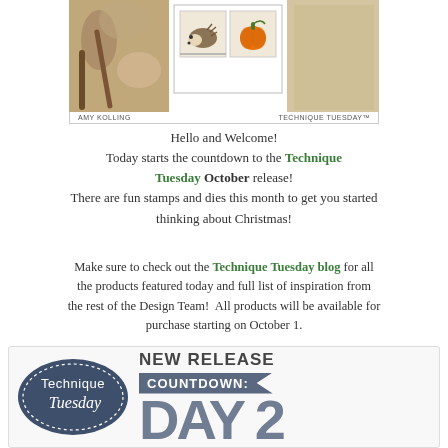[Figure (photo): Craft project photo showing a hand holding a branch on the left, two stamp images in the center (a hedgehog and a pumpkin in white bordered boxes), and a tan cardboard background on the right. Caption below reads: AMY KOLLING and TECHNIQUE TUESDAY™]
AMY KOLLING    TECHNIQUE TUESDAY™
Hello and Welcome!
Today starts the countdown to the Technique Tuesday October release!
There are fun stamps and dies this month to get you started thinking about Christmas!
Make sure to check out the Technique Tuesday blog for all the products featured today and full list of inspiration from the rest of the Design Team!  All products will be available for purchase starting on October 1.
[Figure (logo): Technique Tuesday new release countdown banner. Left: dark navy oval logo with 'Technique Tuesday' script text and dotted border. Right: 'NEW RELEASE' in bold dark text, 'COUNTDOWN:' in white on grey ribbon banner, and large 'DAY 2' text in grey.]